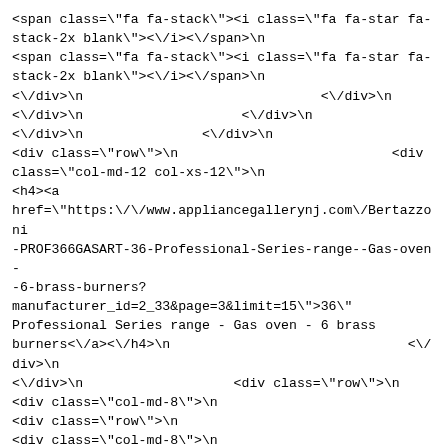<span class="fa fa-stack"><i class="fa fa-star fa-stack-2x blank"><\/i><\/span>\n<span class="fa fa-stack"><i class="fa fa-star fa-stack-2x blank"><\/i><\/span>\n<\/div>\n                              <\/div>\n<\/div>\n                    <\/div>\n<\/div>\n               <\/div>\n<div class="row">\n                           <div class="col-md-12 col-xs-12">\n<h4><a href="https:\/\/www.appliancegallerynj.com\/Bertazzoni-PROF366GASART-36-Professional-Series-range--Gas-oven--6-brass-burners?manufacturer_id=2_33&amp;page=3&amp;limit=15\">36\" Professional Series range - Gas oven - 6 brass burners<\/a><\/h4>\n                              <\/div>\n<\/div>\n                   <div class="row">\n<div class="col-md-8">\n<div class="row">\n<div class="col-md-8">\n<div class="col-md-12">\n\n<div class="attributes" id="mobile-description">\n<div class="row">\n<label class="captalize"><b>model: <\/b><span>PROF366GASART<\/span> <\/label>\n<\/div>\n\n<div class="row">\n<label class="captalize"><b>color:<\/b><span>Orange<\/span> <\/label>\n<\/div>\n